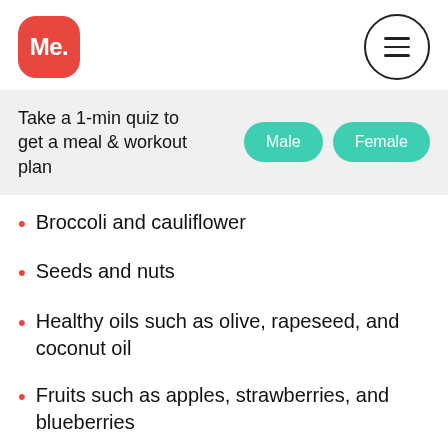Me.
Take a 1-min quiz to get a meal & workout plan
Broccoli and cauliflower
Seeds and nuts
Healthy oils such as olive, rapeseed, and coconut oil
Fruits such as apples, strawberries, and blueberries
Unsweetened dairy products such as plain Greek yogurt and plain whole milk